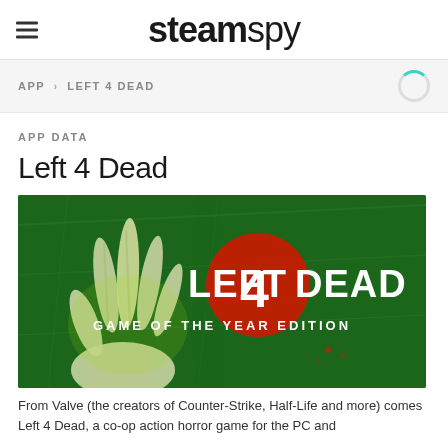steamspy
APP > LEFT 4 DEAD
APP DATA
Left 4 Dead
[Figure (photo): Left 4 Dead Game of the Year Edition promotional art showing a decaying zombie hand reaching upward against a green background with the game logo]
From Valve (the creators of Counter-Strike, Half-Life and more) comes Left 4 Dead, a co-op action horror game for the PC and